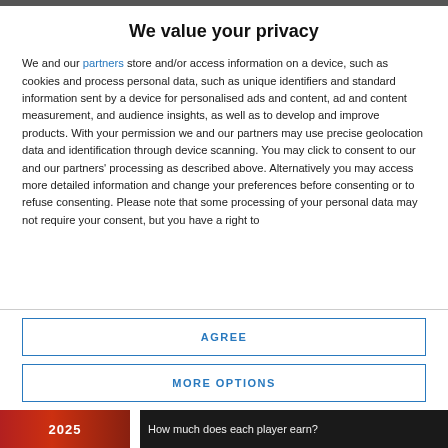We value your privacy
We and our partners store and/or access information on a device, such as cookies and process personal data, such as unique identifiers and standard information sent by a device for personalised ads and content, ad and content measurement, and audience insights, as well as to develop and improve products. With your permission we and our partners may use precise geolocation data and identification through device scanning. You may click to consent to our and our partners’ processing as described above. Alternatively you may access more detailed information and change your preferences before consenting or to refuse consenting. Please note that some processing of your personal data may not require your consent, but you have a right to
AGREE
MORE OPTIONS
How much does each player earn?